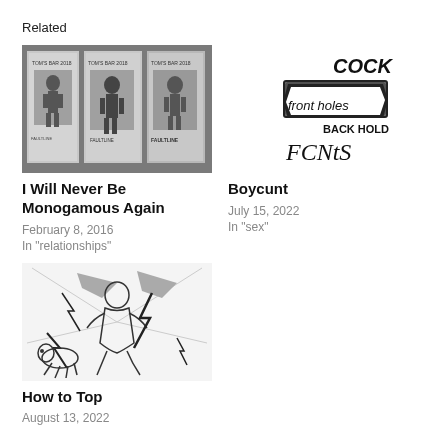Related
[Figure (photo): Grayscale photograph of Tom's Bar / Faultline event posters showing muscular figure illustrations]
I Will Never Be Monogamous Again
February 8, 2016
In "relationships"
[Figure (illustration): Hand-drawn sketch with text: COCK, front holes, BACK HOLD, FCNtS in graffiti/handwritten style]
Boycunt
July 15, 2022
In "sex"
[Figure (illustration): Line art illustration of a muscular figure being struck by lightning bolts, with a dog/animal at bottom left and radiating background lines]
How to Top
August 13, 2022